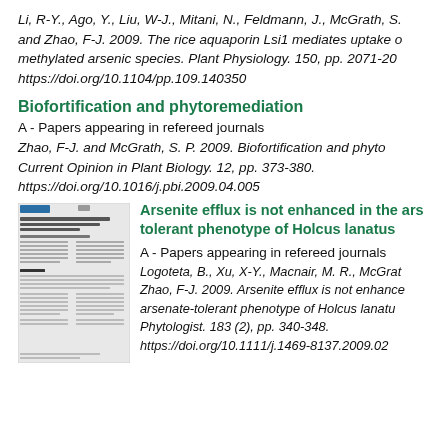Li, R-Y., Ago, Y., Liu, W-J., Mitani, N., Feldmann, J., McGrath, S., and Zhao, F-J. 2009. The rice aquaporin Lsi1 mediates uptake of methylated arsenic species. Plant Physiology. 150, pp. 2071-20... https://doi.org/10.1104/pp.109.140350
Biofortification and phytoremediation
A - Papers appearing in refereed journals
Zhao, F-J. and McGrath, S. P. 2009. Biofortification and phyto... Current Opinion in Plant Biology. 12, pp. 373-380. https://doi.org/10.1016/j.pbi.2009.04.005
[Figure (other): Thumbnail image of a scientific journal article page]
Arsenite efflux is not enhanced in the arsenate-tolerant phenotype of Holcus lanatus
A - Papers appearing in refereed journals
Logoteta, B., Xu, X-Y., Macnair, M. R., McGrat... Zhao, F-J. 2009. Arsenite efflux is not enhanced in the arsenate-tolerant phenotype of Holcus lanatu... Phytologist. 183 (2), pp. 340-348. https://doi.org/10.1111/j.1469-8137.2009.02...